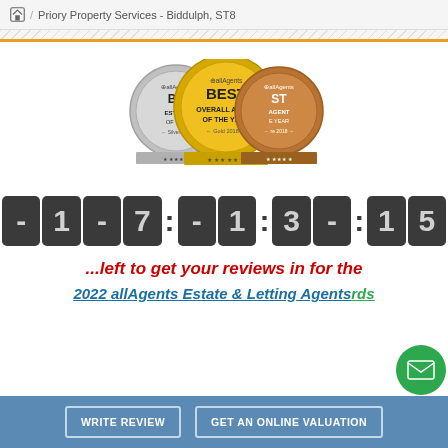Priory Property Services - Biddulph, ST8
[Figure (illustration): Three allAgents award medals: Silver - Best Estate Agent of the Year, Gold 2018 - Best Overall Agent of the Year, Bronze 2018 - Best Agent of the Year]
[Figure (other): Countdown timer showing -1-7:-1:3-:15]
...left to get your reviews in for the
2022 allAgents Estate & Letting Agents Awards